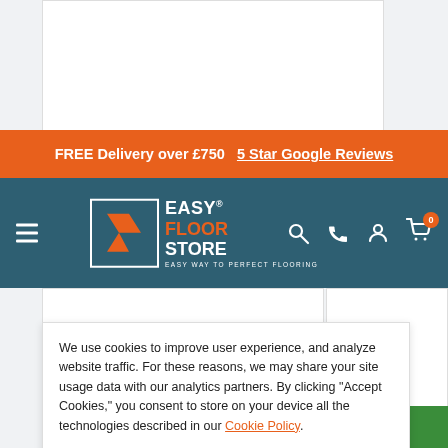FREE Delivery over £750  5 Star Google Reviews
[Figure (logo): Easy Floor Store logo — orange E chevron icon inside white-bordered box, with EASY FLOOR STORE text and tagline 'EASY WAY TO PERFECT FLOORING']
We use cookies to improve user experience, and analyze website traffic. For these reasons, we may share your site usage data with our analytics partners. By clicking "Accept Cookies," you consent to store on your device all the technologies described in our Cookie Policy.
ACCEPT